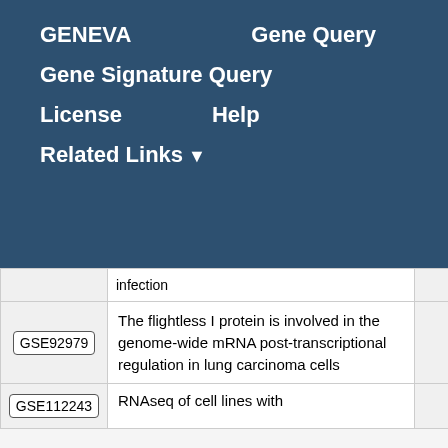GENEVA    Gene Query    Gene Signature Query    License    Help    Related Links
|  | Description | Score |
| --- | --- | --- |
|  | infection |  |
| GSE92979 | The flightless I protein is involved in the genome-wide mRNA post-transcriptional regulation in lung carcinoma cells | 1.25 |
| GSE112243 | RNAseq of cell lines with | 1.24 |